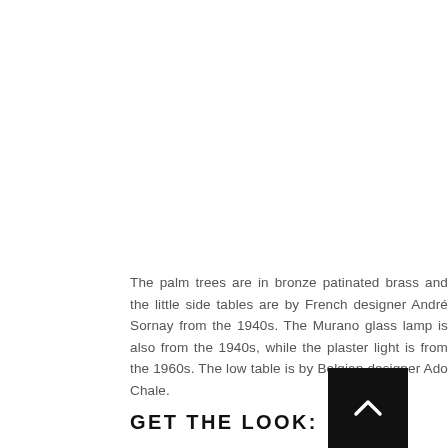The palm trees are in bronze patinated brass and the little side tables are by French designer André Sornay from the 1940s. The Murano glass lamp is also from the 1940s, while the plaster light is from the 1960s. The low table is by Belgian designer Ado Chale.
[Figure (other): Back to top button: black square with white upward-pointing chevron arrow]
GET THE LOOK: